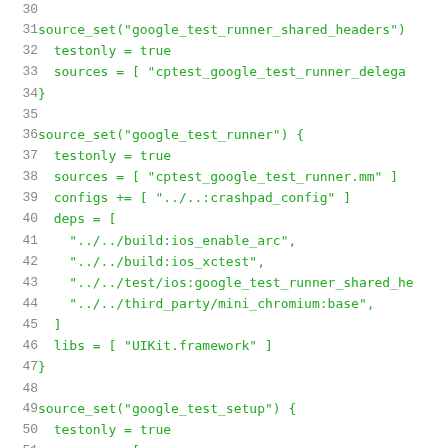Code snippet showing GN build configuration for google_test_runner_shared_headers, google_test_runner, and google_test_setup source sets, lines 30-51.